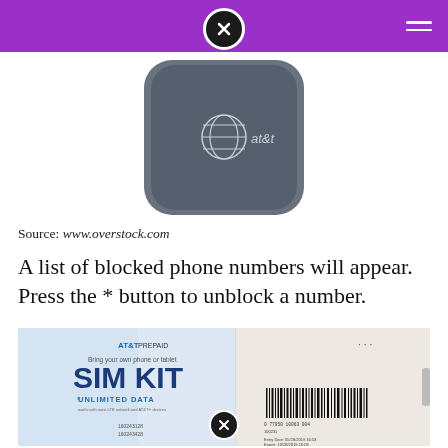[Figure (photo): Purple navigation bar with close (X) button in center and hamburger menu icon on right]
[Figure (photo): Back of an AT&T branded gray flip phone showing the AT&T globe logo]
Source: www.overstock.com
A list of blocked phone numbers will appear. Press the * button to unblock a number.
[Figure (photo): AT&T Prepaid SIM Kit package showing 'Bring your own phone or tablet', 'SIM KIT', 'UNLIMITED DATA' text, barcode, and entry/expiration date information]